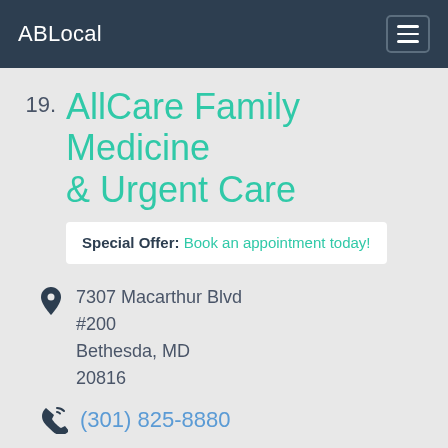ABLocal
19. AllCare Family Medicine & Urgent Care
Special Offer: Book an appointment today!
7307 Macarthur Blvd #200 Bethesda, MD 20816
(301) 825-8880
20. Urgent Care
4810 Beauregard St